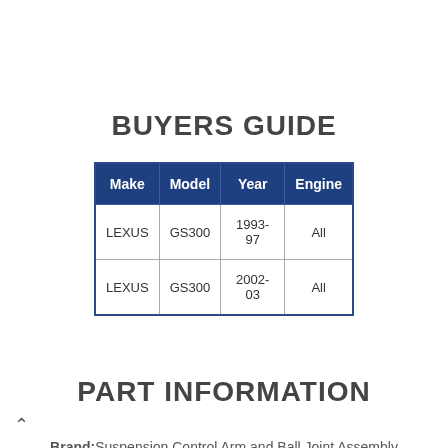BUYERS GUIDE
| Make | Model | Year | Engine |
| --- | --- | --- | --- |
| LEXUS | GS300 | 1993-97 | All |
| LEXUS | GS300 | 2002-03 | All |
PART INFORMATION
Brand: Suspension Control Arm and Ball Joint Assembly by Mevotech Supreme For LEXUS | ShowMeTheParts.com